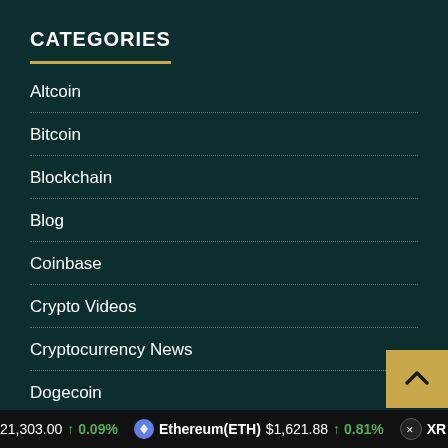CATEGORIES
Altcoin
Bitcoin
Blockchain
Blog
Coinbase
Crypto Videos
Cryptocurrency News
Dogecoin
Ethereum
Litecoin
Monero
21,303.00 ↑ 0.09% Ethereum(ETH) $1,621.88 ↑ 0.81% XR